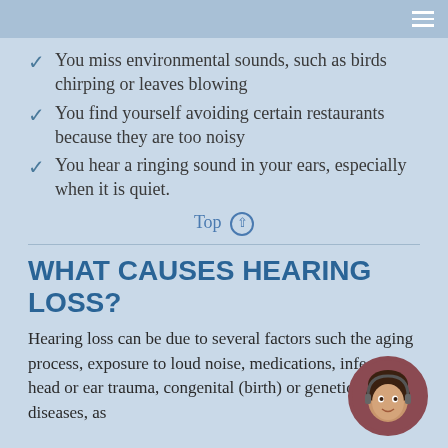You miss environmental sounds, such as birds chirping or leaves blowing
You find yourself avoiding certain restaurants because they are too noisy
You hear a ringing sound in your ears, especially when it is quiet.
Top ↑
WHAT CAUSES HEARING LOSS?
Hearing loss can be due to several factors such the aging process, exposure to loud noise, medications, infections, head or ear trauma, congenital (birth) or genetic factors, diseases, as